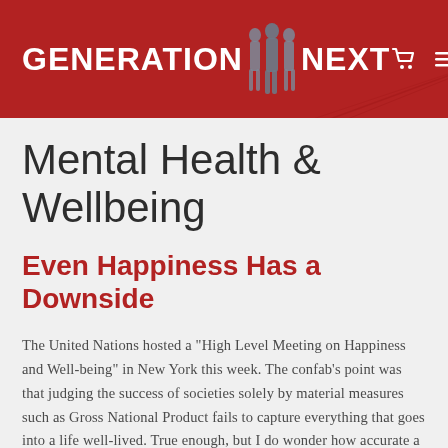GENERATION NEXT
Mental Health & Wellbeing
Even Happiness Has a Downside
The United Nations hosted a "High Level Meeting on Happiness and Well-being" in New York this week. The confab's point was that judging the success of societies solely by material measures such as Gross National Product fails to capture everything that goes into a life well-lived. True enough, but I do wonder how accurate a